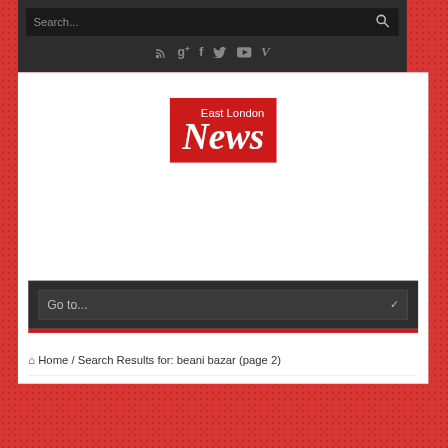[Figure (screenshot): Dark header bar with search input field and social media icons (RSS, Google+, Facebook, Twitter, YouTube, Vimeo)]
[Figure (logo): East London News logo - red background with white italic serif text]
Go to...
Home / Search Results for: beani bazar (page 2)